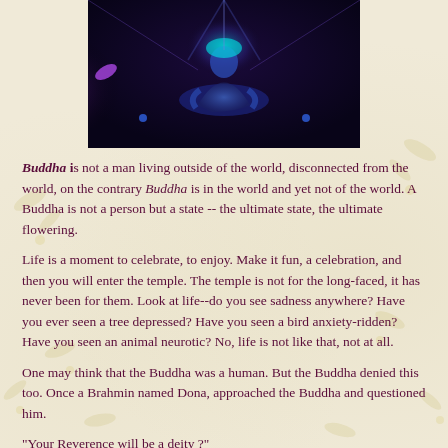[Figure (illustration): A mystical glowing figure in meditation pose with purple and blue light effects against a dark background]
Buddha is not a man living outside of the world, disconnected from the world, on the contrary Buddha is in the world and yet not of the world. A Buddha is not a person but a state -- the ultimate state, the ultimate flowering.
Life is a moment to celebrate, to enjoy. Make it fun, a celebration, and then you will enter the temple. The temple is not for the long-faced, it has never been for them. Look at life--do you see sadness anywhere? Have you ever seen a tree depressed? Have you seen a bird anxiety-ridden? Have you seen an animal neurotic? No, life is not like that, not at all.
One may think that the Buddha was a human. But the Buddha denied this too. Once a Brahmin named Dona, approached the Buddha and questioned him.
"Your Reverence will be a deity ?"
"No, indeed, brahmin, a deity am I not," replied the Buddha.